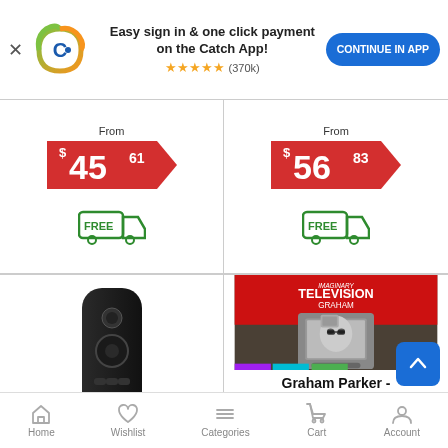[Figure (screenshot): Catch app promotional banner with logo, text 'Easy sign in & one click payment on the Catch App!', 5-star rating (370k), and 'CONTINUE IN APP' button]
From $45.61 FREE shipping
From $56.83 FREE shipping
[Figure (photo): Black Samsung-style TV remote control]
Home Livingroom
[Figure (photo): Album cover for Graham Parker - Imaginary Television, showing a person reflected in a vintage TV screen outdoors]
Graham Parker -
Home  Wishlist  Categories  Cart  Account